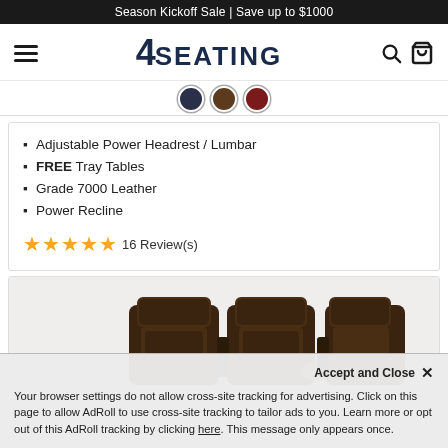Season Kickoff Sale | Save up to $1000
[Figure (logo): 4SEATING logo with hamburger menu and search/cart icons]
[Figure (illustration): Three color swatches (dark navy, brown, dark red) partially visible]
Adjustable Power Headrest / Lumbar
FREE Tray Tables
Grade 7000 Leather
Power Recline
★★★★★ 16 Review(s)
[Figure (photo): Three dark brown leather theater recliners shown from behind/side angle]
Accept and Close ×
Your browser settings do not allow cross-site tracking for advertising. Click on this page to allow AdRoll to use cross-site tracking to tailor ads to you. Learn more or opt out of this AdRoll tracking by clicking here. This message only appears once.